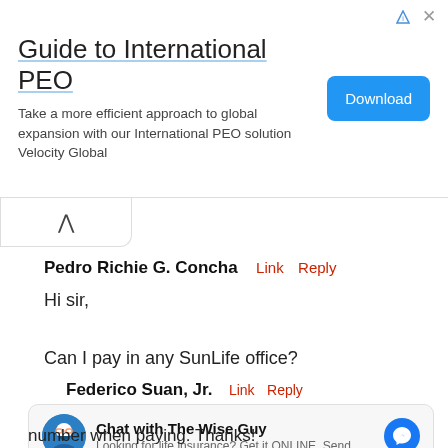[Figure (other): Advertisement banner for 'Guide to International PEO' with a Download button, close and info icons]
Pedro Richie G. Concha  Link  Reply
Hi sir,

Can I pay in any SunLife office?
Federico Suan, Jr.  Link  Reply
[Figure (infographic): Chat widget: 'Chat with The Wise Guy' - Looking for life insurance? Get it ONLINE. Send... with Messenger icon]
number when paying. Thanks!